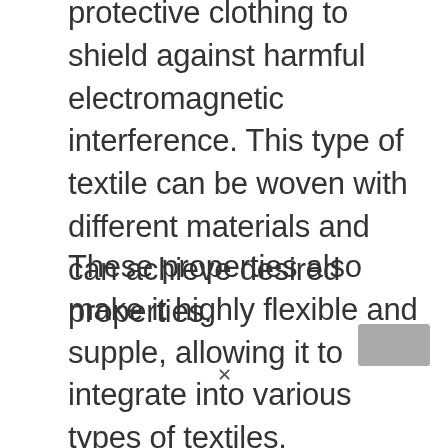protective clothing to shield against harmful electromagnetic interference. This type of textile can be woven with different materials and can achieve desired properties.
These properties also make it highly flexible and supple, allowing it to integrate into various types of textiles.